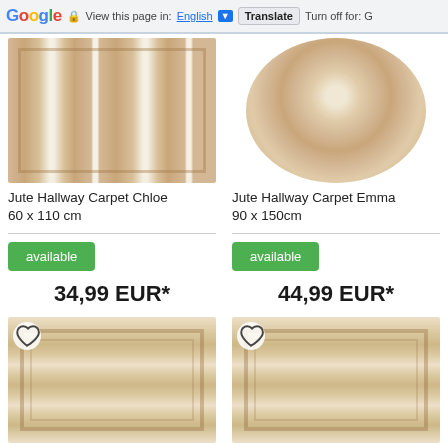Google  View this page in: English  Translate  Turn off for: G
[Figure (photo): Jute hallway carpet Chloe - square woven jute rug with white stripe accents]
Jute Hallway Carpet Chloe
60 x 110 cm
available
34,99 EUR*
[Figure (photo): Jute hallway carpet Emma - round woven jute rug]
Jute Hallway Carpet Emma
90 x 150cm
available
44,99 EUR*
[Figure (photo): Jute hallway carpet - rectangular woven jute rug with border details, partial view]
[Figure (photo): Jute hallway carpet - rectangular woven jute rug with border details, partial view]